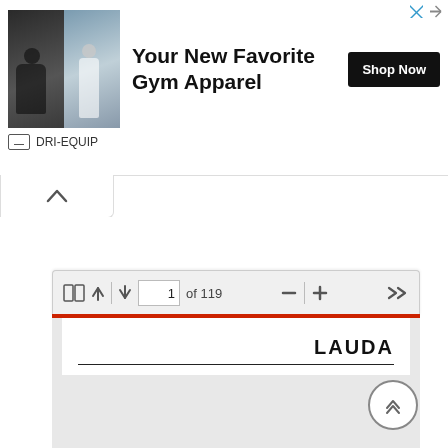[Figure (screenshot): Advertisement banner for DRI-EQUIP gym apparel showing two sports images on left, headline text 'Your New Favorite Gym Apparel', a 'Shop Now' button, and the DRI-EQUIP brand name below.]
[Figure (screenshot): PDF viewer toolbar showing page navigation controls: two-panel view icon, up/down arrows, page input box showing '1 of 119', zoom controls (minus and plus), and forward navigation arrows.]
[Figure (screenshot): Partial PDF document page showing the LAUDA logo in bold uppercase text at top right, with a horizontal line beneath it.]